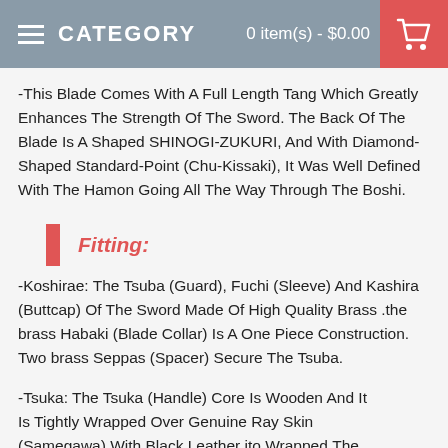CATEGORY | 0 item(s) - $0.00
-This Blade Comes With A Full Length Tang Which Greatly Enhances The Strength Of The Sword. The Back Of The Blade Is A Shaped SHINOGI-ZUKURI, And With Diamond-Shaped Standard-Point (Chu-Kissaki), It Was Well Defined With The Hamon Going All The Way Through The Boshi.
Fitting:
-Koshirae: The Tsuba (Guard), Fuchi (Sleeve) And Kashira (Buttcap) Of The Sword Made Of High Quality Brass .the brass Habaki (Blade Collar) Is A One Piece Construction. Two brass Seppas (Spacer) Secure The Tsuba.
-Tsuka: The Tsuka (Handle) Core Is Wooden And It Is Tightly Wrapped Over Genuine Ray Skin (Samegawa) With Black Leather ito Wrapped.The Full Tang Of The Sword Is Secured By Two Mekugi (Peg) . You Can Unassembled The Blade From The Handle By Taking Out 2 Pegs.